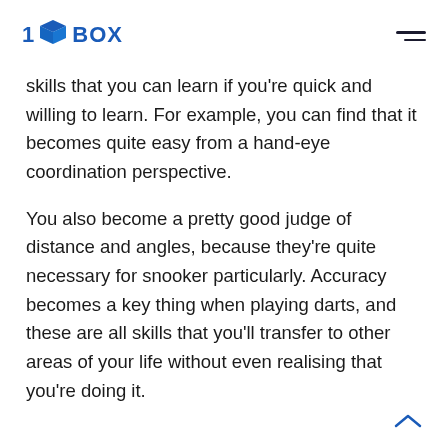1BOX
skills that you can learn if you're quick and willing to learn. For example, you can find that it becomes quite easy from a hand-eye coordination perspective.
You also become a pretty good judge of distance and angles, because they're quite necessary for snooker particularly. Accuracy becomes a key thing when playing darts, and these are all skills that you'll transfer to other areas of your life without even realising that you're doing it.